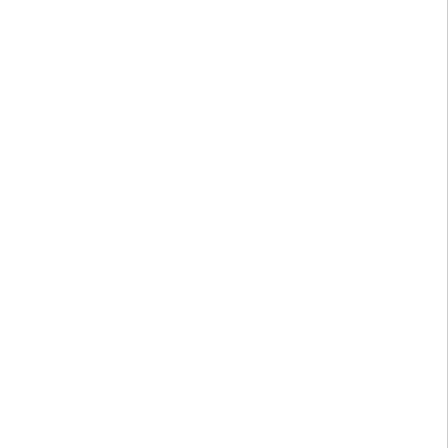ing heart.: I can, teat wheat,: my fr